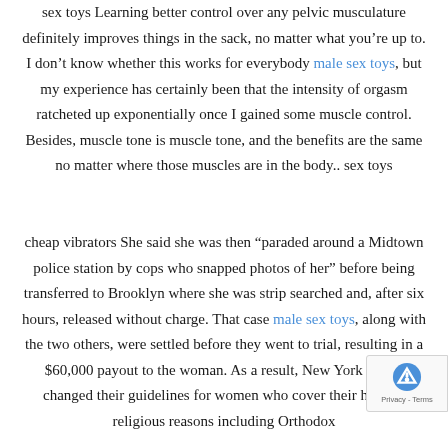sex toys Learning better control over any pelvic musculature definitely improves things in the sack, no matter what you’re up to. I don’t know whether this works for everybody male sex toys, but my experience has certainly been that the intensity of orgasm ratcheted up exponentially once I gained some muscle control. Besides, muscle tone is muscle tone, and the benefits are the same no matter where those muscles are in the body.. sex toys
cheap vibrators She said she was then “paraded around a Midtown police station by cops who snapped photos of her” before being transferred to Brooklyn where she was strip searched and, after six hours, released without charge. That case male sex toys, along with the two others, were settled before they went to trial, resulting in a $60,000 payout to the woman. As a result, New York police changed their guidelines for women who cover their hair for religious reasons including Orthodox